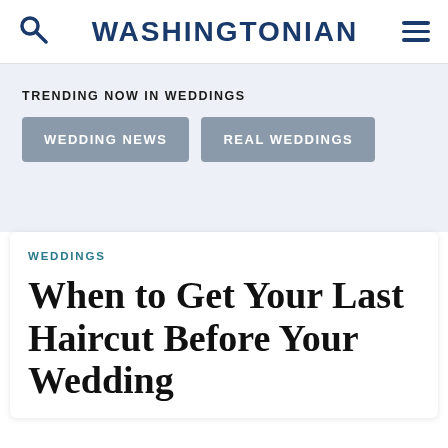WASHINGTONIAN
TRENDING NOW IN WEDDINGS
WEDDING NEWS
REAL WEDDINGS
WEDDINGS
When to Get Your Last Haircut Before Your Wedding